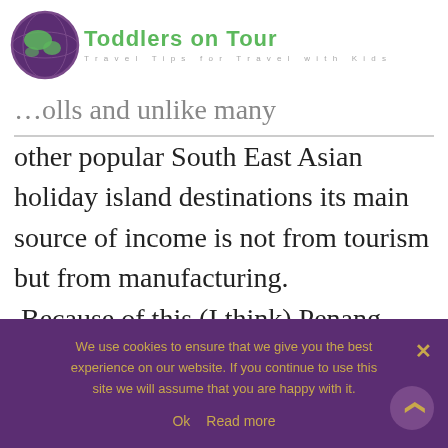[Figure (logo): Toddlers on Tour logo with globe icon and green text reading 'Toddlers on Tour' with subtitle 'Travel Tips for Travel with Kids']
[Figure (map): Partial map screenshot in top right corner with road lines, label A6, AH2 badge, and hamburger menu icon]
...olls and unlike many other popular South East Asian holiday island destinations its main source of income is not from tourism but from manufacturing. Because of this (I think) Penang offers so much more to see and do than the average holiday island destination.
We use cookies to ensure that we give you the best experience on our website. If you continue to use this site we will assume that you are happy with it.
Ok   Read more